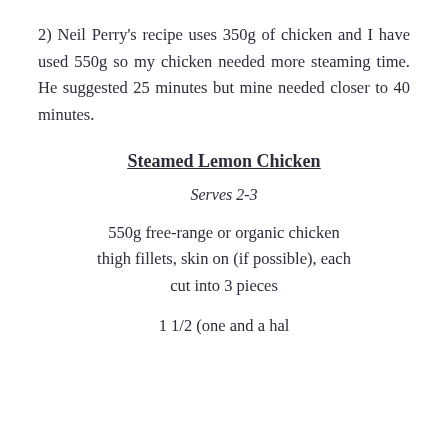2) Neil Perry's recipe uses 350g of chicken and I have used 550g so my chicken needed more steaming time. He suggested 25 minutes but mine needed closer to 40 minutes.
Steamed Lemon Chicken
Serves 2-3
550g free-range or organic chicken thigh fillets, skin on (if possible), each cut into 3 pieces
1 1/2 (one and a half) le...